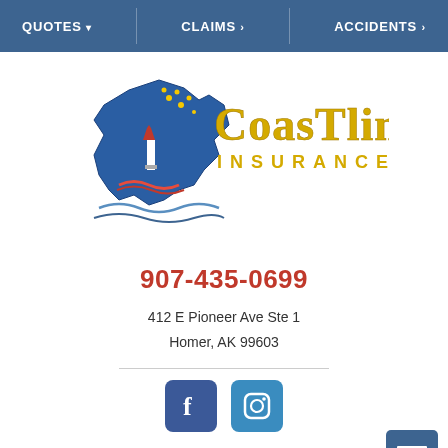QUOTES ▾  |  CLAIMS >  |  ACCIDENTS >
[Figure (logo): Coastline Insurance logo with Alaska state shape in blue and gold text reading COASTLINE INSURANCE]
907-435-0699
412 E Pioneer Ave Ste 1
Homer, AK 99603
[Figure (other): Facebook and Instagram social media icon buttons]
[Figure (photo): Scenic coastal/lake landscape photo with mountains and trees in background]
ORDER AUTO ID CARDS
Coastline Insurance Agency